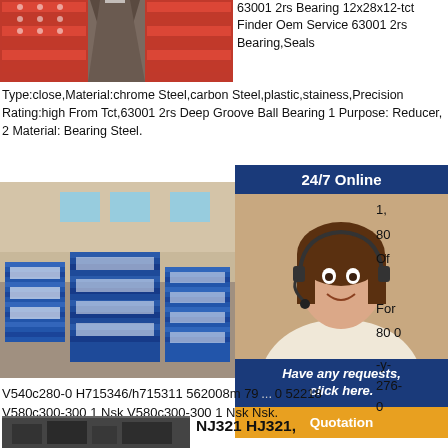[Figure (photo): Warehouse aisle with stacked red bearing boxes on pallets on both sides]
63001 2rs Bearing 12x28x12-tct Finder Oem Service 63001 2rs Bearing,Seals Type:close,Material:chrome Steel,carbon Steel,plastic,stainess,Precision Rating:high From Tct,63001 2rs Deep Groove Ball Bearing 1 Purpose: Reducer, 2 Material: Bearing Steel.
[Figure (photo): Warehouse with stacked blue bearing product boxes on pallets]
[Figure (photo): Customer service agent with headset - 24/7 Online overlay with Have any requests, click here. and Quotation button]
V540c280-0 H715346/h715311 562008m 79 ... 0 52218 V580c300-300 1 Nsk V580c300-300 1 Nsk Nsk.
[Figure (photo): Warehouse image partially visible at bottom]
NJ321 HJ321,